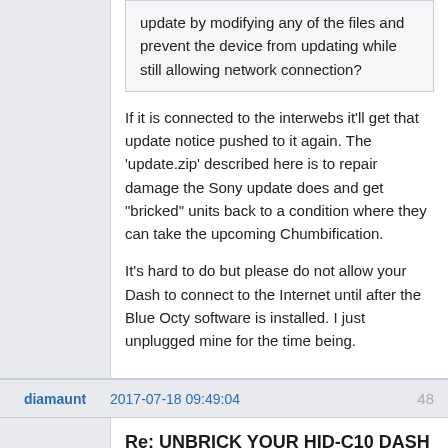update by modifying any of the files and prevent the device from updating while still allowing network connection?
If it is connected to the interwebs it'll get that update notice pushed to it again.   The 'update.zip' described here is to repair damage the Sony update does and get "bricked" units back to a condition where they can take the upcoming Chumbification.
It's hard to do but please do not allow your Dash to connect to the Internet until after the Blue Octy software is installed.  I just unplugged mine for the time being.
diamaunt
2017-07-18 09:49:04
48
Re: UNBRICK YOUR HID-C10 DASH